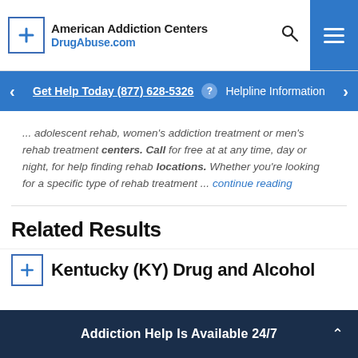American Addiction Centers DrugAbuse.com
Get Help Today (877) 628-5326 ? Helpline Information
... adolescent rehab, women's addiction treatment or men's rehab treatment centers. Call for free at at any time, day or night, for help finding rehab locations. Whether you're looking for a specific type of rehab treatment ... continue reading
Related Results
Kentucky (KY) Drug and Alcohol
Addiction Help Is Available 24/7